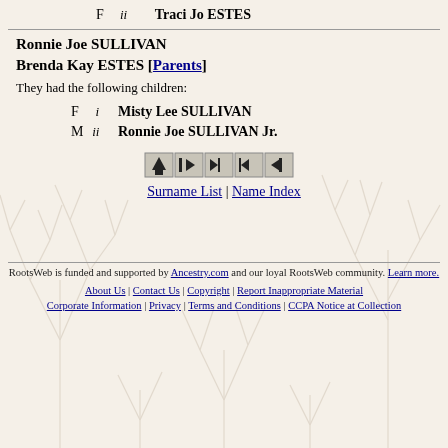F  ii  Traci Jo ESTES
Ronnie Joe SULLIVAN
Brenda Kay ESTES [Parents]
They had the following children:
F  i  Misty Lee SULLIVAN
M  ii  Ronnie Joe SULLIVAN Jr.
Surname List | Name Index
RootsWeb is funded and supported by Ancestry.com and our loyal RootsWeb community. Learn more. About Us | Contact Us | Copyright | Report Inappropriate Material Corporate Information | Privacy | Terms and Conditions | CCPA Notice at Collection